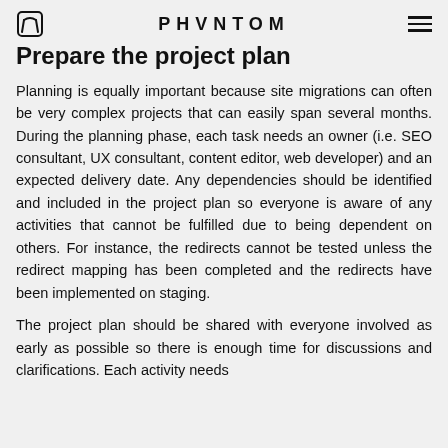PHVNTOM
Prepare the project plan
Planning is equally important because site migrations can often be very complex projects that can easily span several months. During the planning phase, each task needs an owner (i.e. SEO consultant, UX consultant, content editor, web developer) and an expected delivery date. Any dependencies should be identified and included in the project plan so everyone is aware of any activities that cannot be fulfilled due to being dependent on others. For instance, the redirects cannot be tested unless the redirect mapping has been completed and the redirects have been implemented on staging.
The project plan should be shared with everyone involved as early as possible so there is enough time for discussions and clarifications. Each activity needs